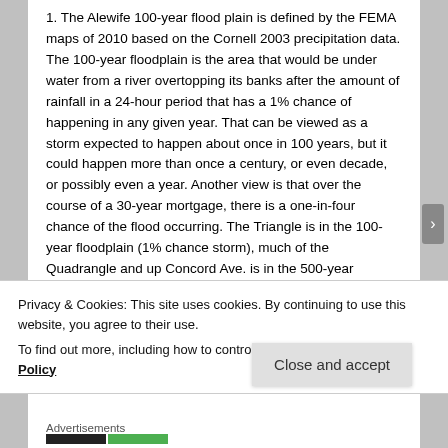1. The Alewife 100-year flood plain is defined by the FEMA maps of 2010 based on the Cornell 2003 precipitation data. The 100-year floodplain is the area that would be under water from a river overtopping its banks after the amount of rainfall in a 24-hour period that has a 1% chance of happening in any given year. That can be viewed as a storm expected to happen about once in 100 years, but it could happen more than once a century, or even decade, or possibly even a year. Another view is that over the course of a 30-year mortgage, there is a one-in-four chance of the flood occurring. The Triangle is in the 100-year floodplain (1% chance storm), much of the Quadrangle and up Concord Ave. is in the 500-year floodplain (0.2% chance). Actual flooding levels will change due to climate change, but the FEMA maps are
Privacy & Cookies: This site uses cookies. By continuing to use this website, you agree to their use.
To find out more, including how to control cookies, see here: Cookie Policy
Close and accept
Advertisements